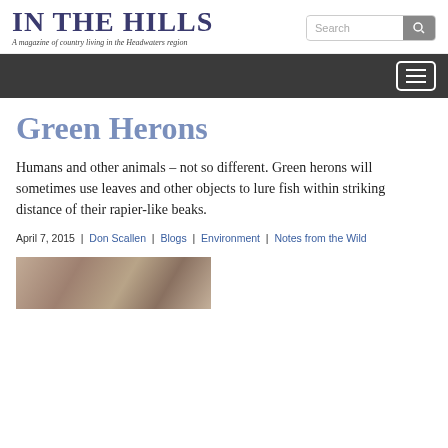IN THE HILLS — A magazine of country living in the Headwaters region
Green Herons
Humans and other animals – not so different. Green herons will sometimes use leaves and other objects to lure fish within striking distance of their rapier-like beaks.
April 7, 2015 | Don Scallen | Blogs | Environment | Notes from the Wild
[Figure (photo): Close-up photo of a green heron, showing its eye and beak detail against a branch or bark background]